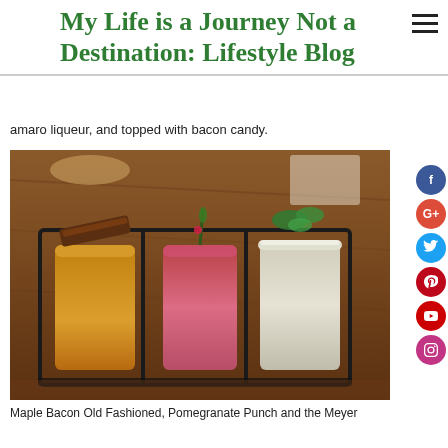My Life is a Journey Not a Destination: Lifestyle Blog
amaro liqueur, and topped with bacon candy.
[Figure (photo): Three mason jar cocktails in a black wire rack on a wooden table. Left jar contains an amber-colored drink topped with bacon candy. Middle jar has a pink/red drink with rosemary and pomegranate. Right jar has a white/creamy drink with a salted rim and fresh herbs.]
Maple Bacon Old Fashioned, Pomegranate Punch and the Meyer